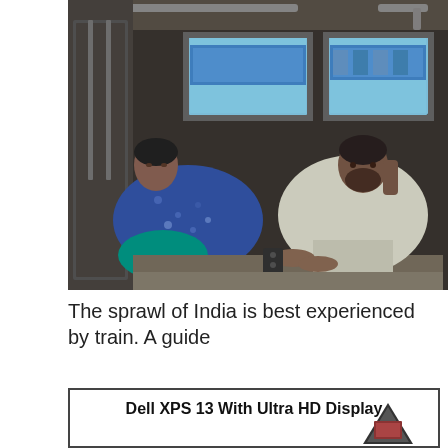[Figure (photo): Two people sitting on berths inside an Indian train compartment. A woman in a blue floral sari sits on the left, and a man in white clothes sits on the right. Windows show another train or station outside.]
The sprawl of India is best experienced by train. A guide
[Figure (photo): Advertisement box for Dell XPS 13 With Ultra HD Display, showing a laptop image in the lower right corner.]